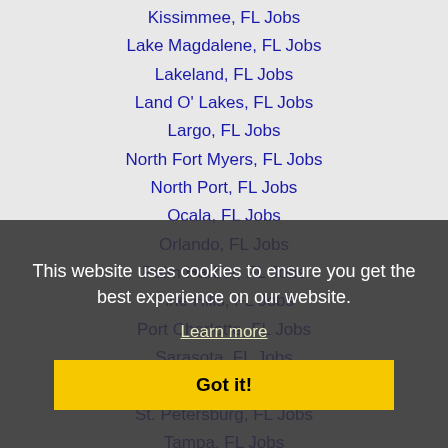Kissimmee, FL Jobs
Lake Magdalene, FL Jobs
Lakeland, FL Jobs
Land O' Lakes, FL Jobs
Largo, FL Jobs
North Fort Myers, FL Jobs
North Port, FL Jobs
Ocala, FL Jobs
Orlando, FL Jobs
Palm Harbor, FL Jobs
Pine Hills, FL Jobs
Port Charlotte, FL Jobs
Sarasota, FL Jobs
Spring Hill, FL Jobs
St. Petersburg, FL Jobs
Tampa, FL Jobs
Town-n-Country, FL Jobs
This website uses cookies to ensure you get the best experience on our website.
Learn more
Got it!